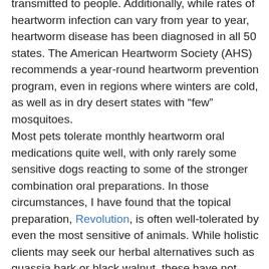transmitted to people. Additionally, while rates of heartworm infection can vary from year to year, heartworm disease has been diagnosed in all 50 states. The American Heartworm Society (AHS) recommends a year-round heartworm prevention program, even in regions where winters are cold, as well as in dry desert states with “few” mosquitoes.
Most pets tolerate monthly heartworm oral medications quite well, with only rarely some sensitive dogs reacting to some of the stronger combination oral preparations. In those circumstances, I have found that the topical preparation, Revolution, is often well-tolerated by even the most sensitive of animals. While holistic clients may seek our herbal alternatives such as quassia bark or black walnut, these have not been studied for long term safety; therefore it is recommended to administer heartworm medication to pets year round with an approved prescription product.